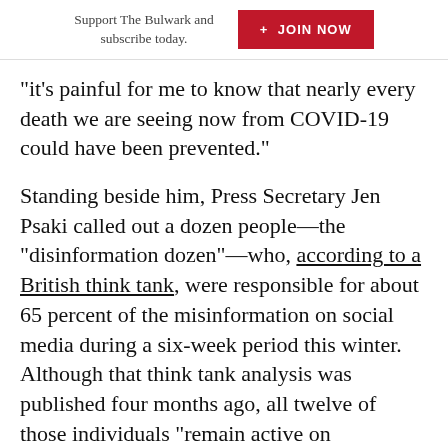Support The Bulwark and subscribe today. + JOIN NOW
“it’s painful for me to know that nearly every death we are seeing now from COVID-19 could have been prevented.”
Standing beside him, Press Secretary Jen Psaki called out a dozen people—the “disinformation dozen”—who, according to a British think tank, were responsible for about 65 percent of the misinformation on social media during a six-week period this winter. Although that think tank analysis was published four months ago, all twelve of those individuals “remain active on Facebook,” Psaki said, “despite some even being banned on